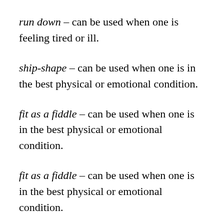run down – can be used when one is feeling tired or ill.
ship-shape – can be used when one is in the best physical or emotional condition.
fit as a fiddle – can be used when one is in the best physical or emotional condition.
fit as a fiddle – can be used when one is in the best physical or emotional condition.